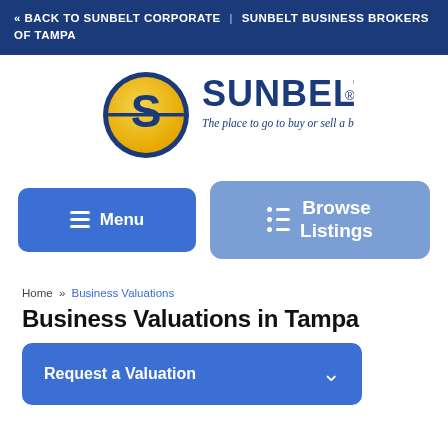« BACK TO SUNBELT CORPORATE | SUNBELT BUSINESS BROKERS OF TAMPA
[Figure (logo): Sunbelt logo with circular S emblem and tagline 'The place to go to buy or sell a business.']
Menu
Browse Listings
Home » Business Valuations
Business Valuations in Tampa
Request a Valuation